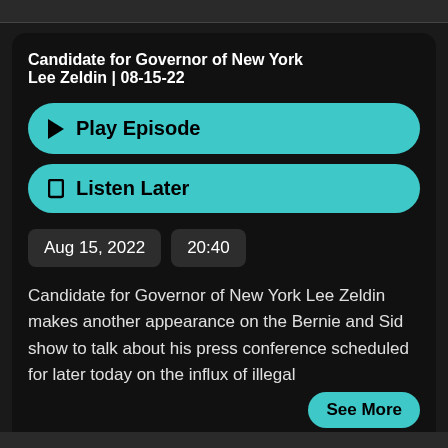Candidate for Governor of New York Lee Zeldin | 08-15-22
▶ Play Episode
🔖 Listen Later
Aug 15, 2022   20:40
Candidate for Governor of New York Lee Zeldin makes another appearance on the Bernie and Sid show to talk about his press conference scheduled for later today on the influx of illegal
See More
# new york   👤 bernie sanders